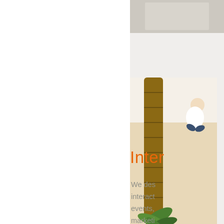[Figure (photo): Photo of a person crouching near a palm tree on sandy ground, with additional small plant, bird-like figure visible. Shown as tall vertical image on the right side of the page.]
Inter
We des interact events, marketi